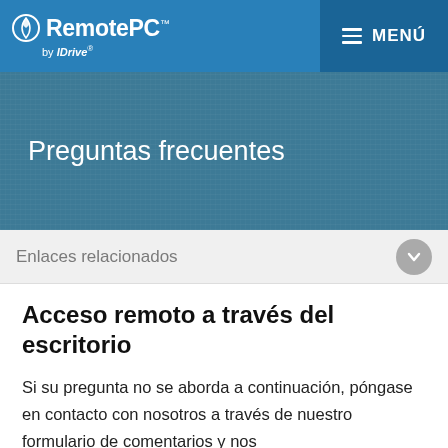[Figure (logo): RemotePC by IDrive logo in top navigation bar with blue background]
MENÚ
Preguntas frecuentes
Enlaces relacionados
Acceso remoto a través del escritorio
Si su pregunta no se aborda a continuación, póngase en contacto con nosotros a través de nuestro formulario de comentarios y nos